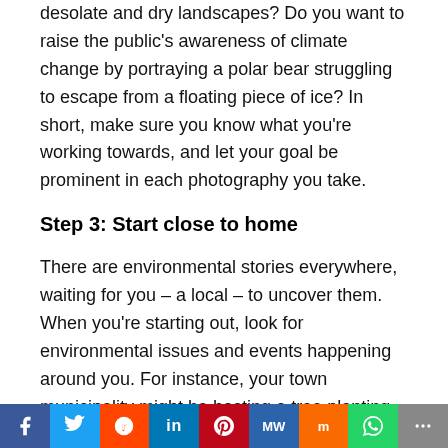desolate and dry landscapes? Do you want to raise the public's awareness of climate change by portraying a polar bear struggling to escape from a floating piece of ice? In short, make sure you know what you're working towards, and let your goal be prominent in each photography you take.
Step 3: Start close to home
There are environmental stories everywhere, waiting for you – a local – to uncover them. When you're starting out, look for environmental issues and events happening around you. For instance, your town municipality might be hosting a tree planting event. Alternatively, there could be a local game reserve that you think might be guilty of wildlife malpractice. If you live on the coast, there could even be a penguin colony close by for you to photograph, in order to raise awareness for the species'
f  Twitter  Reddit  in  Pinterest  MW  Mix  WhatsApp  More